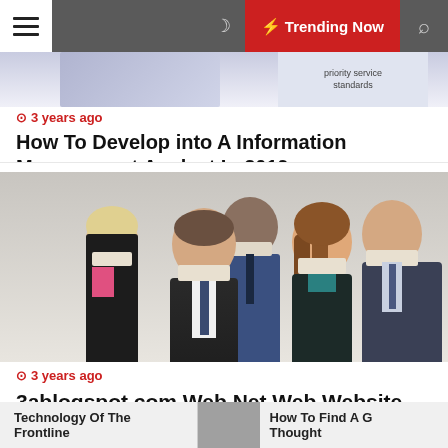☰ ☽ ⚡ Trending Now 🔍
[Figure (screenshot): Partially visible article card with bluish header image showing partial document/table preview and text 'priority service standards']
3 years ago
How To Develop into A Information Management Analyst In 2019
[Figure (photo): Group of four business professionals in suits, each with white tape over their mouths, symbolizing silence or censorship, against a white background]
3 years ago
3ablogspot.com Web Net Web Website
Technology Of The Frontline   How To Find A G Thought